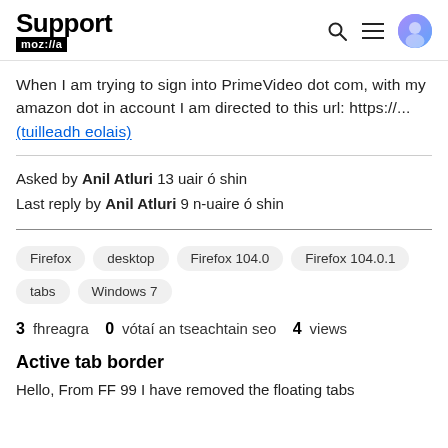Support mozilla//a
When I am trying to sign into PrimeVideo dot com, with my amazon dot in account I am directed to this url: https://... (tuilleadh eolais)
Asked by Anil Atluri 13 uair ó shin
Last reply by Anil Atluri 9 n-uaire ó shin
Firefox
desktop
Firefox 104.0
Firefox 104.0.1
tabs
Windows 7
3 fhreagra  0 vótaí an tseachtain seo  4 views
Active tab border
Hello, From FF 99 I have removed the floating tabs